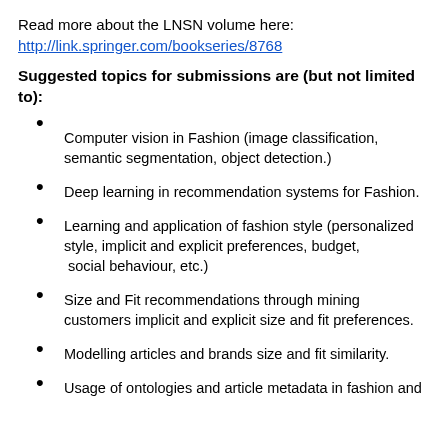Read more about the LNSN volume here:
http://link.springer.com/bookseries/8768
Suggested topics for submissions are (but not limited to):
Computer vision in Fashion (image classification, semantic segmentation, object detection.)
Deep learning in recommendation systems for Fashion.
Learning and application of fashion style (personalized style, implicit and explicit preferences, budget, social behaviour, etc.)
Size and Fit recommendations through mining customers implicit and explicit size and fit preferences.
Modelling articles and brands size and fit similarity.
Usage of ontologies and article metadata in fashion and